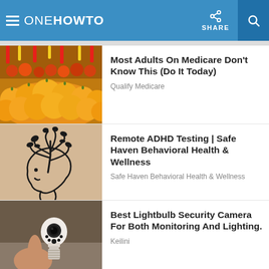oneHOWTO — SHARE
[Figure (photo): Colorful fruit market with piles of oranges and other fruits in background]
Most Adults On Medicare Don't Know This (Do It Today)
Qualify Medicare
[Figure (illustration): Line art of a human head profile with a tree growing from the brain, on beige background]
Remote ADHD Testing | Safe Haven Behavioral Health & Wellness
Safe Haven Behavioral Health & Wellness
[Figure (photo): Hand holding a white lightbulb-shaped security camera]
Best Lightbulb Security Camera For Both Monitoring And Lighting.
Keilini